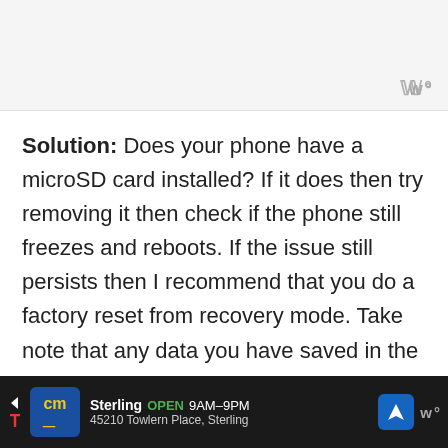Solution: Does your phone have a microSD card installed? If it does then try removing it then check if the phone still freezes and reboots. If the issue still persists then I recommend that you do a factory reset from recovery mode. Take note that any data you have saved in the phone will be deleted in the process.
[Figure (screenshot): Advertisement banner at bottom showing CM (Canadian Motors / Camping World) store ad: Sterling OPEN 9AM-9PM, 45210 Towlern Place, Sterling, with navigation arrow icon]